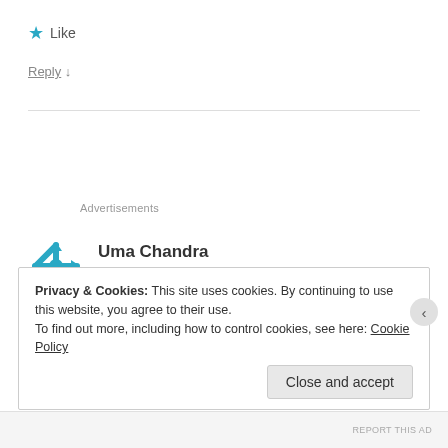★ Like
Reply ↓
Advertisements
Uma Chandra
August 6, 2012 at 11:37 pm
Privacy & Cookies: This site uses cookies. By continuing to use this website, you agree to their use.
To find out more, including how to control cookies, see here: Cookie Policy
Close and accept
REPORT THIS AD